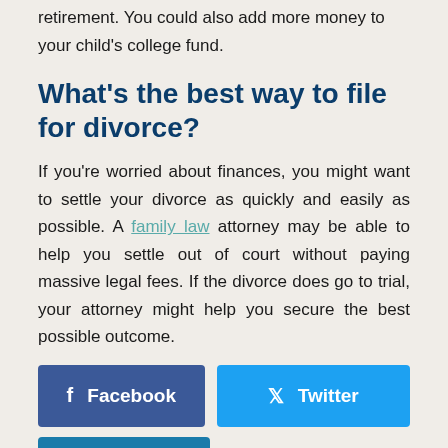retirement. You could also add more money to your child's college fund.
What's the best way to file for divorce?
If you're worried about finances, you might want to settle your divorce as quickly and easily as possible. A family law attorney may be able to help you settle out of court without paying massive legal fees. If the divorce does go to trial, your attorney might help you secure the best possible outcome.
[Figure (other): Social media share buttons: Facebook, Twitter, LinkedIn]